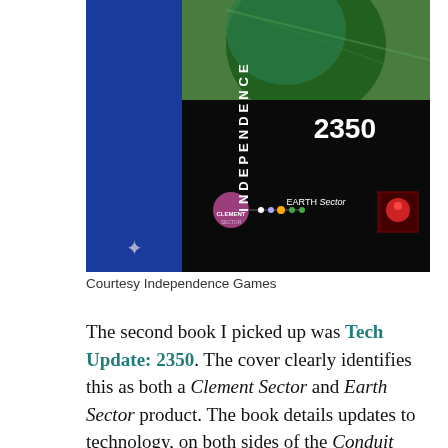[Figure (screenshot): Cover image of 'Tech Update: 2350' showing space/planet scene with 'INDEPENDENCE' text vertically on left blue panel, '2350' in large white text on black background, solar system diagram with 'Clement Sector' and 'EARTH Sector' labels]
Courtesy Independence Games
The second book I picked up was Tech Update: 2350. The cover clearly identifies this as both a Clement Sector and Earth Sector product. The book details updates to technology, on both sides of the Conduit Collapse, in the twenty years since the incident. If there is a part I really like, it is the updated Computer rules. If there was one area the designers of Original Traveller missed it was computer technology. Even Mongoose Traveller and